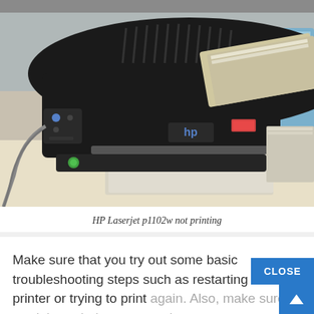[Figure (photo): Photo of an HP LaserJet p1102w printer on a desk. The printer is black, with paper loaded in the output tray. A cable is visible on the left side.]
HP Laserjet p1102w not printing
Make sure that you try out some basic troubleshooting steps such as restarting the printer or trying to print again. Also, make sure to read through the reasons due to which this error occurs in the first place and then start implementing the solutions.